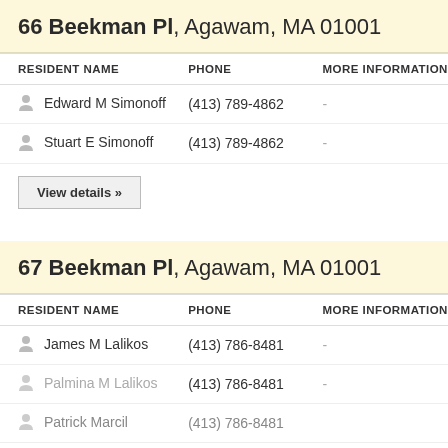66 Beekman Pl, Agawam, MA 01001
| RESIDENT NAME | PHONE | MORE INFORMATION |
| --- | --- | --- |
| Edward M Simonoff | (413) 789-4862 | - |
| Stuart E Simonoff | (413) 789-4862 | - |
View details »
67 Beekman Pl, Agawam, MA 01001
| RESIDENT NAME | PHONE | MORE INFORMATION |
| --- | --- | --- |
| James M Lalikos | (413) 786-8481 | - |
| Palmina M Lalikos | (413) 786-8481 | - |
| Patrick Marcil | (413) 786-8481 |  |